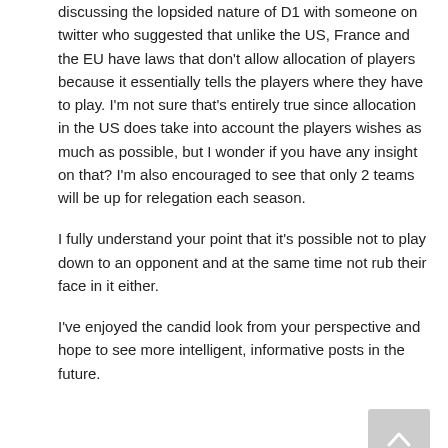discussing the lopsided nature of D1 with someone on twitter who suggested that unlike the US, France and the EU have laws that don't allow allocation of players because it essentially tells the players where they have to play. I'm not sure that's entirely true since allocation in the US does take into account the players wishes as much as possible, but I wonder if you have any insight on that? I'm also encouraged to see that only 2 teams will be up for relegation each season.
I fully understand your point that it's possible not to play down to an opponent and at the same time not rub their face in it either.
I've enjoyed the candid look from your perspective and hope to see more intelligent, informative posts in the future.
LOG IN TO REPLY
Asa